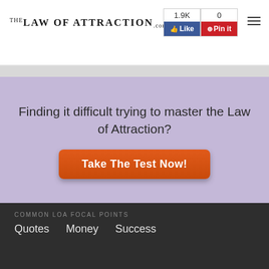TheLawOfAttraction.com — 1.9K Like | 0 Pin it
Finding it difficult trying to master the Law of Attraction?
Take The Test Now!
COMMON LOA FOCAL POINTS
Quotes
Money
Success